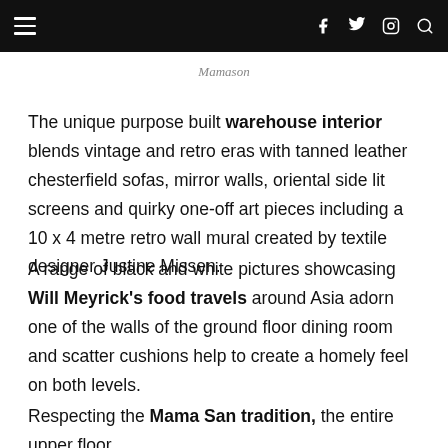Navigation bar with hamburger menu and social icons (f, twitter, instagram, search)
Mamason
The unique purpose built warehouse interior blends vintage and retro eras with tanned leather chesterfield sofas, mirror walls, oriental side lit screens and quirky one-off art pieces including a 10 x 4 metre retro wall mural created by textile designer Justine Missen.
A range of black and white pictures showcasing Will Meyrick's food travels around Asia adorn one of the walls of the ground floor dining room and scatter cushions help to create a homely feel on both levels.
Respecting the Mama San tradition, the entire upper floor